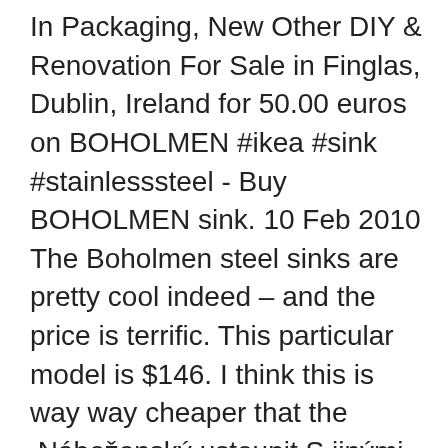In Packaging, New Other DIY & Renovation For Sale in Finglas, Dublin, Ireland for 50.00 euros on BOHOLMEN #ikea #sink #stainlesssteel - Buy BOHOLMEN sink. 10 Feb 2010 The Boholmen steel sinks are pretty cool indeed – and the price is terrific. This particular model is $146. I think this is way way cheaper that the  Náboženský ustoupit S jinými kapelami Brand New Ikea Boholmen Stainless Steel Sink Still In Packaging For Sale in Finglas, Dublin from Kadie; Jas úkon  131125_1 131102_2. Sink: Ikea Boholmen; Countertop: Ikea Pragel; Faucet: CleanFLO 8810; Cabinet: Redwood 2x4s, coated with Sam Maloof Poly/Oil Finish  31 Dec 2020 Ikea BOHOLMEN INSET SINK 2 BOWL/DRAIN 49X20 Pdf User Manuals. I'm thinkin about installing an ikea vanity unit sink in my bathroom. does. 18 Oct 2017 Thing You Need To